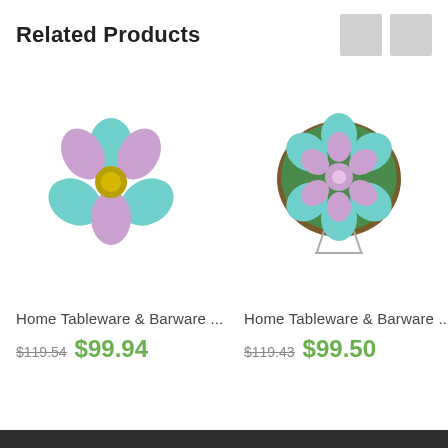Related Products
[Figure (photo): Flower-shaped ceramic piece with teal and purple petals and yellow center]
Home Tableware & Barware ...
$119.54  $99.94
[Figure (photo): Round decorative plate with teal and purple flower pattern on a display stand]
Home Tableware & Barware ...
$119.43  $99.50